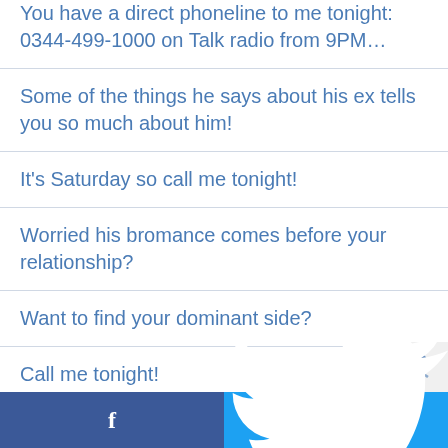You have a direct phoneline to me tonight: 0344-499-1000 on Talk radio from 9PM…
Some of the things he says about his ex tells you so much about him!
It's Saturday so call me tonight!
Worried his bromance comes before your relationship?
Want to find your dominant side?
Call me tonight!
Call me this Saturday night from 9 PM…
Facebook | Twitter